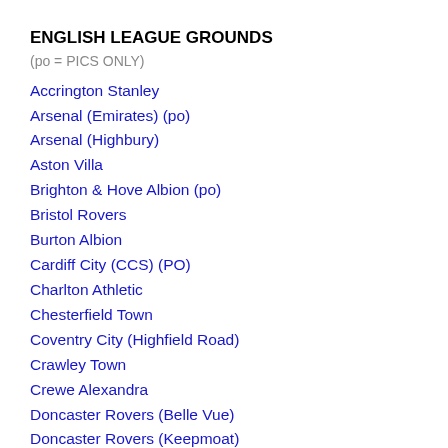ENGLISH LEAGUE GROUNDS
(po = PICS ONLY)
Accrington Stanley
Arsenal (Emirates) (po)
Arsenal (Highbury)
Aston Villa
Brighton & Hove Albion (po)
Bristol Rovers
Burton Albion
Cardiff City (CCS) (PO)
Charlton Athletic
Chesterfield Town
Coventry City (Highfield Road)
Crawley Town
Crewe Alexandra
Doncaster Rovers (Belle Vue)
Doncaster Rovers (Keepmoat)
Everton
Fleetwood Town (po)
Forest Green Rovers (po)